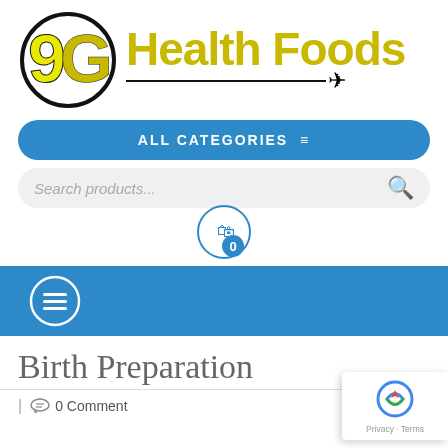[Figure (logo): 9G Health Foods logo with yellow 9G text inside a black circle and yellow Health Foods text with a plane icon]
[Figure (screenshot): Blue ALL CATEGORIES navigation button with hamburger menu icon]
[Figure (screenshot): Search products... search bar with red search icon]
[Figure (screenshot): Shopping cart icon with 0 badge in a circle]
[Figure (screenshot): Blue navigation bar with hamburger menu button]
Birth Preparation
| 0 Comment
[Figure (logo): Google reCAPTCHA Privacy - Terms badge]